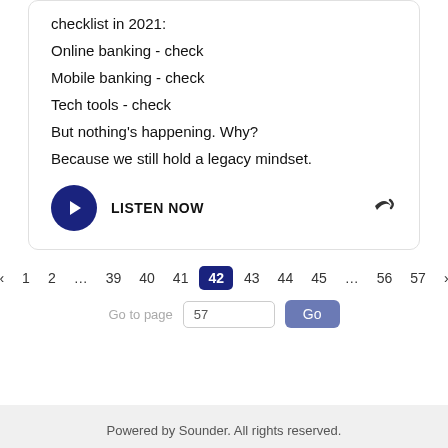checklist in 2021:
Online banking - check
Mobile banking - check
Tech tools - check
But nothing's happening. Why?
Because we still hold a legacy mindset.
LISTEN NOW
Powered by Sounder. All rights reserved.